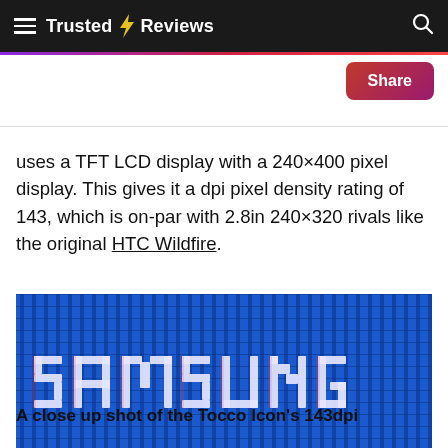Trusted Reviews
uses a TFT LCD display with a 240×400 pixel display. This gives it a dpi pixel density rating of 143, which is on-par with 2.8in 240×320 rivals like the original HTC Wildfire.
[Figure (photo): A close-up macro photograph of a TFT LCD screen showing individual RGB pixels, displaying the text 'SAMSUNG' in large pixelated white letters on a blue background]
A close up shot of the Tocco Icon's 143dpi